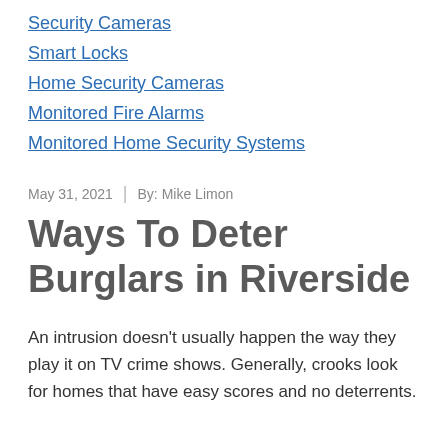Security Cameras
Smart Locks
Home Security Cameras
Monitored Fire Alarms
Monitored Home Security Systems
May 31, 2021 | By: Mike Limon
Ways To Deter Burglars in Riverside
An intrusion doesn’t usually happen the way they play it on TV crime shows. Generally, crooks look for homes that have easy scores and no deterrents.